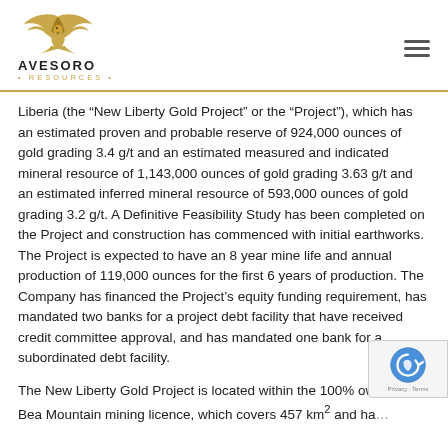AVESORO RESOURCES
Liberia (the “New Liberty Gold Project” or the “Project”), which has an estimated proven and probable reserve of 924,000 ounces of gold grading 3.4 g/t and an estimated measured and indicated mineral resource of 1,143,000 ounces of gold grading 3.63 g/t and an estimated inferred mineral resource of 593,000 ounces of gold grading 3.2 g/t. A Definitive Feasibility Study has been completed on the Project and construction has commenced with initial earthworks. The Project is expected to have an 8 year mine life and annual production of 119,000 ounces for the first 6 years of production. The Company has financed the Project’s equity funding requirement, has mandated two banks for a project debt facility that have received credit committee approval, and has mandated one bank for a subordinated debt facility.
The New Liberty Gold Project is located within the 100% ow... Bea Mountain mining licence, which covers 457 km² and ha...